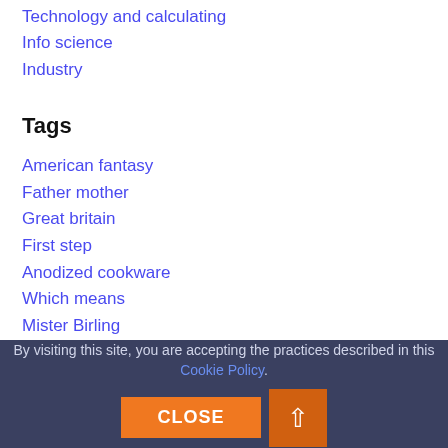Technology and calculating
Info science
Industry
Tags
American fantasy
Father mother
Great britain
First step
Anodized cookware
Which means
Mister Birling
This experiment
Baby killing
United States
Business model
By visiting this site, you are accepting the practices described in this Cookie Policy. CLOSE